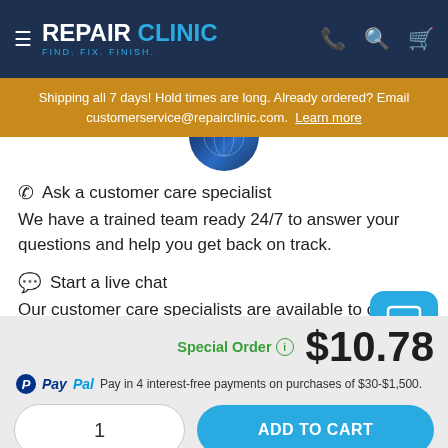REPAIR CLINIC — FIND. FIX. FINISH.
Shipping all 7 days! Hold times are long. Already ordered? Email customerservice@repairclinic.com. Learn more
Ask a customer care specialist
We have a trained team ready 24/7 to answer your questions and help you get back on track.
Start a live chat
Our customer care specialists are available to chat w…
Special Order  $10.78
PayPal Pay in 4 interest-free payments on purchases of $30-$1,500.
1
ADD TO CART